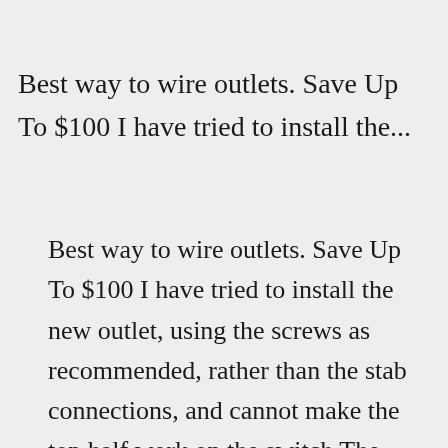Best way to wire outlets. Save Up To $100 I have tried to install the...
Best way to wire outlets. Save Up To $100 I have tried to install the new outlet, using the screws as recommended, rather than the stab connections, and cannot make the top half work on the switch The grounding wire